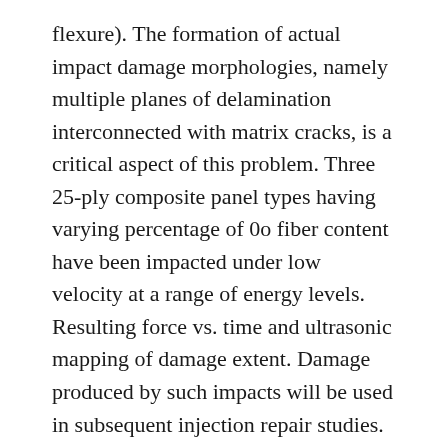flexure). The formation of actual impact damage morphologies, namely multiple planes of delamination interconnected with matrix cracks, is a critical aspect of this problem. Three 25-ply composite panel types having varying percentage of 0o fiber content have been impacted under low velocity at a range of energy levels. Resulting force vs. time and ultrasonic mapping of damage extent. Damage produced by such impacts will be used in subsequent injection repair studies. Intentional contamination will be introduced, and then removal will be achieved via injected solvents and atmospheric plasma, with monitoring of contaminant presence achieved by in-line quantitative chemical analysis.
DOI